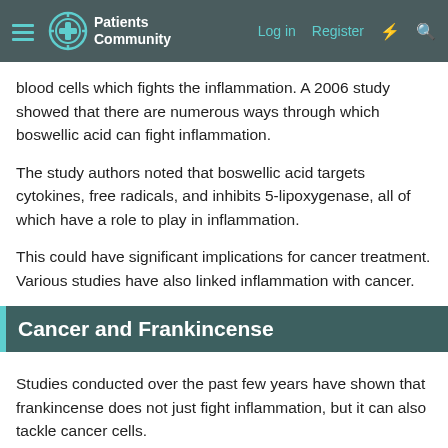Patients Community — Log in | Register
blood cells which fights the inflammation. A 2006 study showed that there are numerous ways through which boswellic acid can fight inflammation.
The study authors noted that boswellic acid targets cytokines, free radicals, and inhibits 5-lipoxygenase, all of which have a role to play in inflammation.
This could have significant implications for cancer treatment. Various studies have also linked inflammation with cancer.
Cancer and Frankincense
Studies conducted over the past few years have shown that frankincense does not just fight inflammation, but it can also tackle cancer cells.